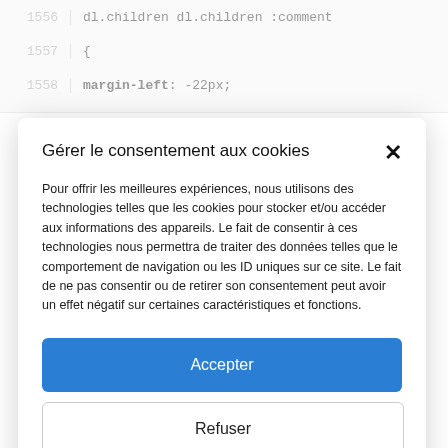[Figure (screenshot): Code editor background showing lines 1556-1558 with CSS code: dl.children dl.children :comment, {, margin-left: -22px;]
Gérer le consentement aux cookies
Pour offrir les meilleures expériences, nous utilisons des technologies telles que les cookies pour stocker et/ou accéder aux informations des appareils. Le fait de consentir à ces technologies nous permettra de traiter des données telles que le comportement de navigation ou les ID uniques sur ce site. Le fait de ne pas consentir ou de retirer son consentement peut avoir un effet négatif sur certaines caractéristiques et fonctions.
Accepter
Refuser
Voir les préférences